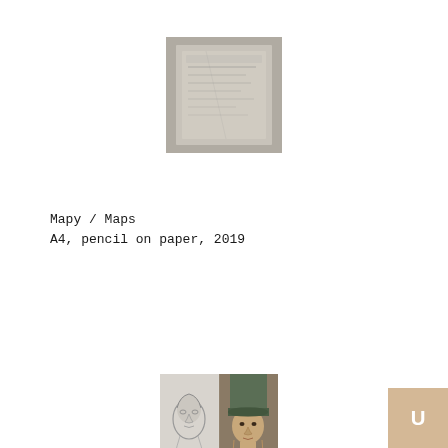[Figure (illustration): Small thumbnail image of a sketch/map on paper, grayish tones, appears to be a pencil drawing on A4 paper]
Mapy / Maps
A4, pencil on paper, 2019
[Figure (photo): Small thumbnail showing two portrait images side by side: left is a pencil sketch of a face, right is a colored/painted portrait of a person wearing a hat]
[Figure (logo): Logo badge in lower right corner: tan/beige square with a white stylized U or O letter shape]